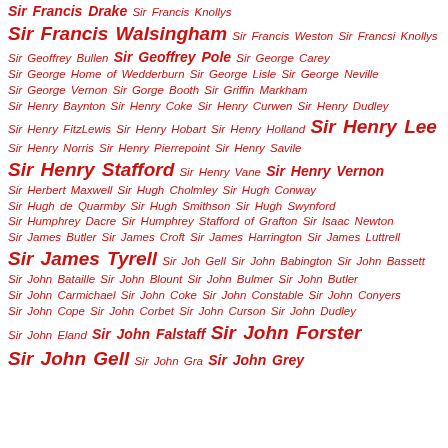Sir Francis Drake Sir Francis Knollys Sir Francis Walsingham Sir Francis Weston Sir Francsi Knollys Sir Geoffrey Bullen Sir Geoffrey Pole Sir George Carey Sir George Home of Wedderburn Sir George Lisle Sir George Neville Sir George Vernon Sir Gorge Booth Sir Griffin Markham Sir Henry Baynton Sir Henry Coke Sir Henry Curwen Sir Henry Dudley Sir Henry FitzLewis Sir Henry Hobart Sir Henry Holland Sir Henry Lee Sir Henry Norris Sir Henry Pierrepoint Sir Henry Savile Sir Henry Stafford Sir Henry Vane Sir Henry Vernon Sir Herbert Maxwell Sir Hugh Cholmley Sir Hugh Conway Sir Hugh de Quarmby Sir Hugh Smithson Sir Hugh Swynford Sir Humphrey Dacre Sir Humphrey Stafford of Grafton Sir Isaac Newton Sir James Butler Sir James Croft Sir James Harrington Sir James Luttrell Sir James Tyrell Sir Joh Gell Sir John Babington Sir John Bassett Sir John Bataille Sir John Blount Sir John Bulmer Sir John Butler Sir John Carmichael Sir John Coke Sir John Constable Sir John Conyers Sir John Cope Sir John Corbet Sir John Curson Sir John Dudley Sir John Eland Sir John Falstaff Sir John Forster Sir John Gell Sir John Gra Sir John Grey